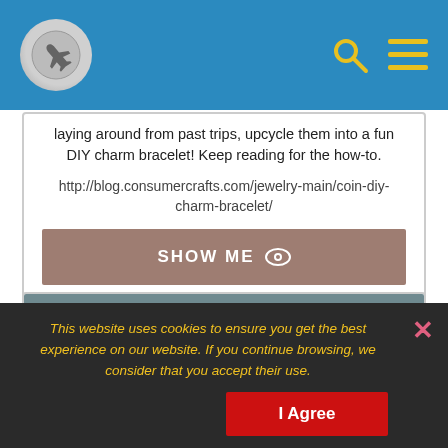Travel blog header with airplane logo, search and menu icons
laying around from past trips, upcycle them into a fun DIY charm bracelet! Keep reading for the how-to.
http://blog.consumercrafts.com/jewelry-main/coin-diy-charm-bracelet/
SHOW ME
Pretty Little Liars Charm Bracelet: Handmade - Amazon.com
This website uses cookies to ensure you get the best experience on our website. If you continue browsing, we consider that you accept their use.
I Agree